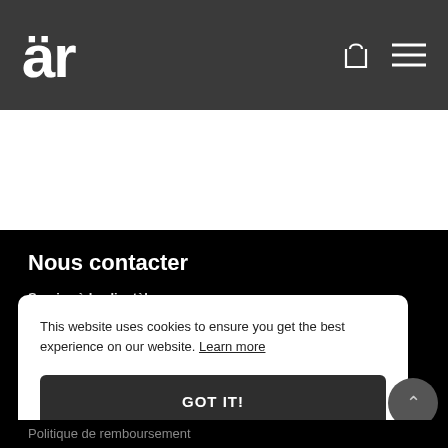är
Nous contacter
Service à la clientèle
info@arfacemask.com
This website uses cookies to ensure you get the best experience on our website. Learn more
GOT IT!
Politique de remboursement